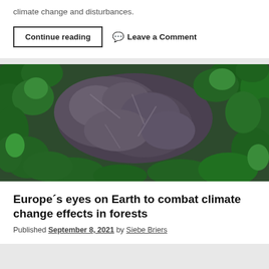climate change and disturbances.
Continue reading
Leave a Comment
[Figure (photo): Aerial view of a forest showing a mix of green conifer trees and bare/dead trees, viewed from directly above.]
Europe´s eyes on Earth to combat climate change effects in forests
Published September 8, 2021 by Siebe Briers